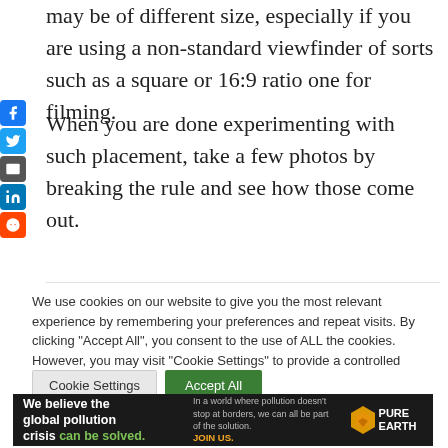may be of different size, especially if you are using a non-standard viewfinder of sorts such as a square or 16:9 ratio one for filming.
When you are done experimenting with such placement, take a few photos by breaking the rule and see how those come out.
We use cookies on our website to give you the most relevant experience by remembering your preferences and repeat visits. By clicking "Accept All", you consent to the use of ALL the cookies. However, you may visit "Cookie Settings" to provide a controlled consent.
[Figure (other): Cookie consent buttons: 'Cookie Settings' (grey) and 'Accept All' (green)]
[Figure (other): Pure Earth advertisement banner: 'We believe the global pollution crisis can be solved.' with JOIN US call to action and Pure Earth logo]